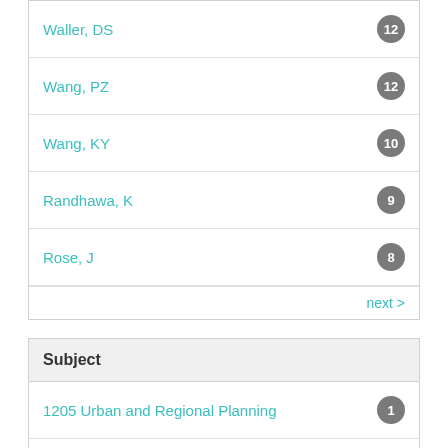Waller, DS — 12
Wang, PZ — 12
Wang, KY — 10
Randhawa, K — 9
Rose, J — 8
next >
Subject
1205 Urban and Regional Planning — 1
Artificial Intelligence & Image P... — 1
Business & Management — 1
Oncology & Carcinogenesis — 1